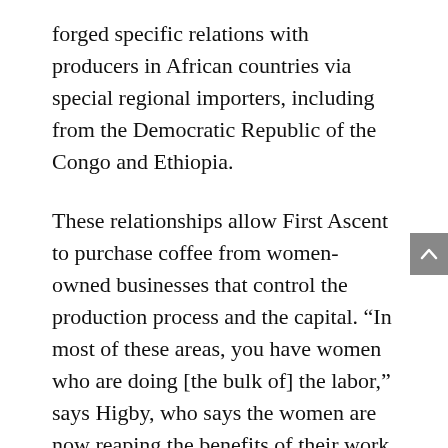forged specific relations with producers in African countries via special regional importers, including from the Democratic Republic of the Congo and Ethiopia.
These relationships allow First Ascent to purchase coffee from women-owned businesses that control the production process and the capital. “In most of these areas, you have women who are doing [the bulk of] the labor,” says Higby, who says the women are now reaping the benefits of their work.
Down the production line, First Ascent